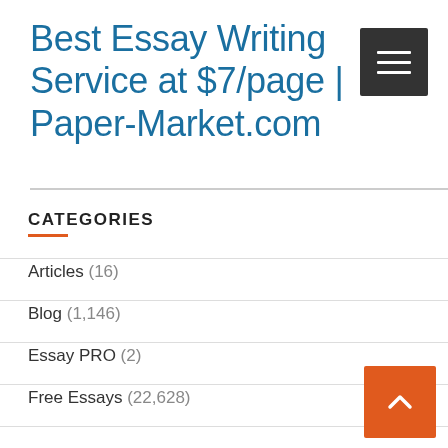Best Essay Writing Service at $7/page | Paper-Market.com
CATEGORIES
Articles (16)
Blog (1,146)
Essay PRO (2)
Free Essays (22,628)
III (1,146)
Accounting (536)
America (56)
Animation (63)